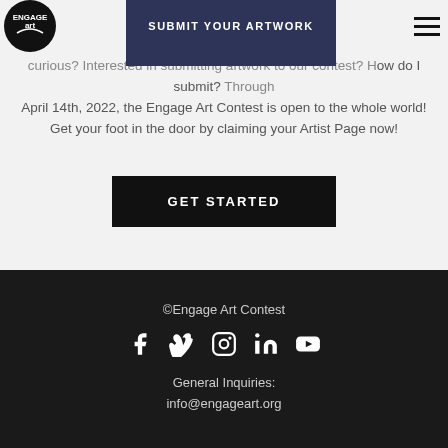Engage Art — Submit Your Artwork navigation header
curious? Interested in submitting artwork to our contest? How do I submit? Through April 14th, 2022, the Engage Art Contest is open to the whole world! Get your foot in the door by claiming your Artist Page now!
GET STARTED
©Engage Art Contest
General Inquiries:
info@engageart.org